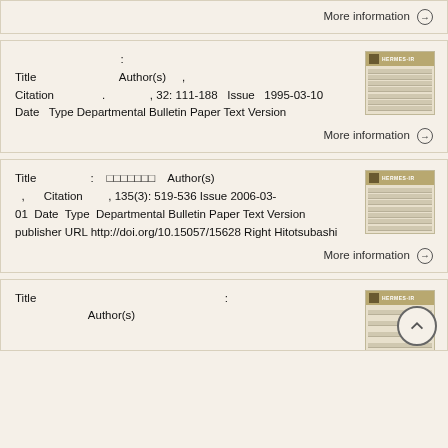More information →
Title : Author(s) , Citation , 32: 111-188 Issue 1995-03-10 Date Type Departmental Bulletin Paper Text Version
More information →
Title : □□□□□□□ Author(s) , Citation , 135(3): 519-536 Issue 2006-03-01 Date Type Departmental Bulletin Paper Text Version publisher URL http://doi.org/10.15057/15628 Right Hitotsubashi
More information →
Title :
Author(s)